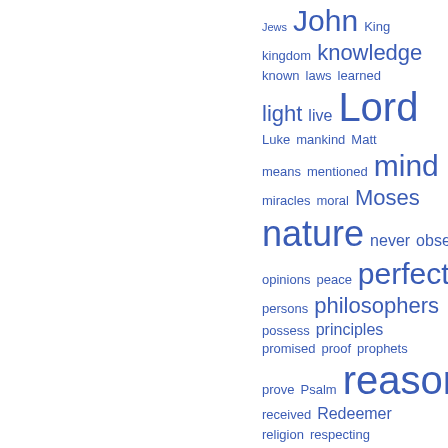[Figure (infographic): Word cloud showing index terms in blue, varying font sizes indicating frequency. Words visible include: Jews, John, King, kingdom, knowledge, known, laws, learned, light, live, Lord, Luke, mankind, Matt, means, mentioned, mind, miracles, moral, Moses, nature, never, observed, opinions, peace, perfect, persons, philosophers, possess, principles, promised, proof, prophets, prove, Psalm, reason, received, Redeemer, religion, respecting, revelation, salvation, saved, Saviour, says, Scriptures, seen, sent]